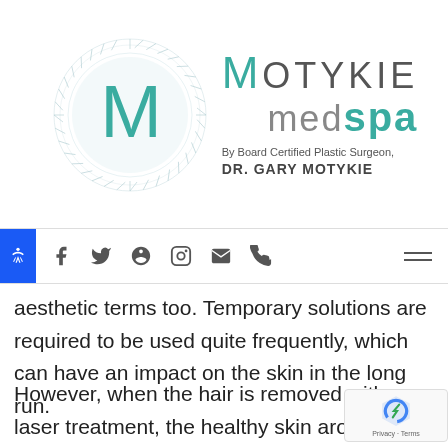[Figure (logo): Motykie MedSpa logo with circular radiating design and teal letter M, text reads MOTYKIE medspa By Board Certified Plastic Surgeon, DR. GARY MOTYKIE]
[Figure (other): Navigation bar with social media icons: Facebook, Twitter, Yelp, Instagram, Email, Phone, and hamburger menu. Accessibility button on left side.]
aesthetic terms too. Temporary solutions are required to be used quite frequently, which can have an impact on the skin in the long run.
However, when the hair is removed with laser treatment, the healthy skin around area remains unaffected because of the